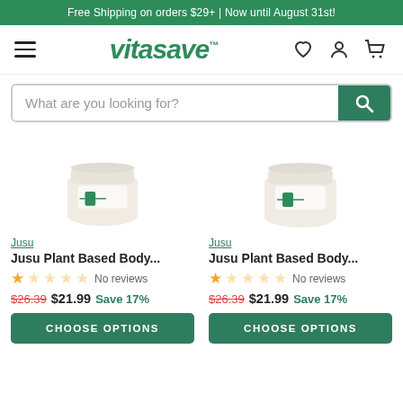Free Shipping on orders $29+ | Now until August 31st!
[Figure (screenshot): Vitasave logo and navigation bar with hamburger menu, logo, and icons for wishlist, account, and cart]
What are you looking for?
[Figure (photo): Product image: Jusu Plant Based Body cream jar, white container with green label]
Jusu
Jusu Plant Based Body...
No reviews
$26.39 $21.99 Save 17%
CHOOSE OPTIONS
[Figure (photo): Product image: Jusu Plant Based Body cream jar, white container with green label]
Jusu
Jusu Plant Based Body...
No reviews
$26.39 $21.99 Save 17%
CHOOSE OPTIONS